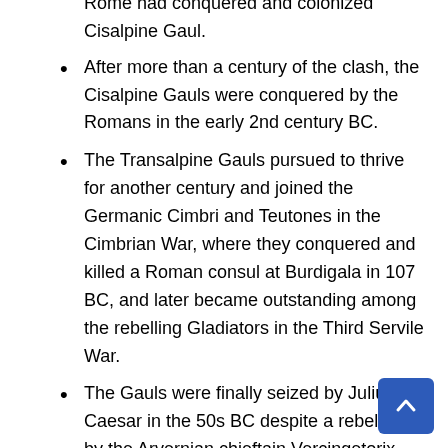Romans proved, however, and by 181 Rome had conquered and colonized Cisalpine Gaul.
After more than a century of the clash, the Cisalpine Gauls were conquered by the Romans in the early 2nd century BC.
The Transalpine Gauls pursued to thrive for another century and joined the Germanic Cimbri and Teutones in the Cimbrian War, where they conquered and killed a Roman consul at Burdigala in 107 BC, and later became outstanding among the rebelling Gladiators in the Third Servile War.
The Gauls were finally seized by Julius Caesar in the 50s BC despite a rebellion by the Arvernian chieftain Vercingetorix.